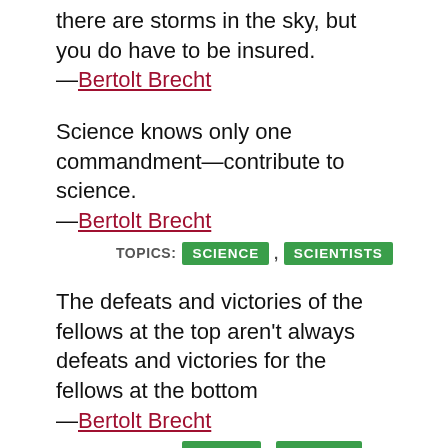there are storms in the sky, but you do have to be insured.
—Bertolt Brecht
Science knows only one commandment—contribute to science.
—Bertolt Brecht
TOPICS: SCIENCE , SCIENTISTS
The defeats and victories of the fellows at the top aren't always defeats and victories for the fellows at the bottom
—Bertolt Brecht
TOPICS: DEFEAT , VICTORY
There must always be some who are brighter